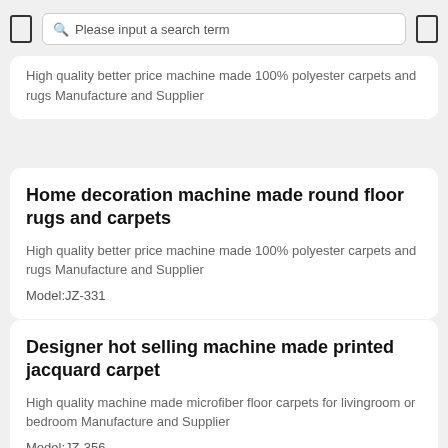Please input a search term
High quality better price machine made 100% polyester carpets and rugs Manufacture and Supplier
Home decoration machine made round floor rugs and carpets
High quality better price machine made 100% polyester carpets and rugs Manufacture and Supplier
Model:JZ-331
Designer hot selling machine made printed jacquard carpet
High quality machine made microfiber floor carpets for livingroom or bedroom Manufacture and Supplier
Model:JZ-356